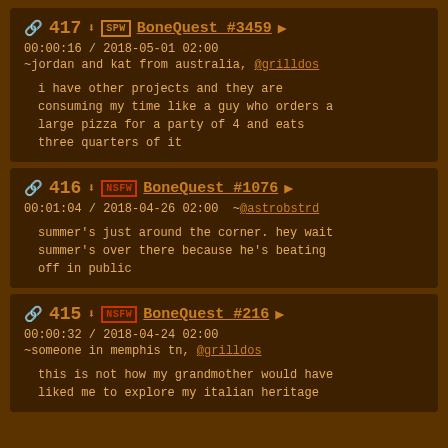417 SPW BoneQuest #3459 ▶ 00:00:16 / 2018-05-01 02:00 ~jordan and kat from australia, @grilldos — i have other projects and they are consuming my time like a guy who orders a large pizza for a party of 4 and eats three quarters of it
416 NSFW BoneQuest #1076 ▶ 00:01:04 / 2018-04-26 02:00 ~@astrobstrd — summer's just around the corner. hey wait summer's over there because he's beating off in public
415 NSFW BoneQuest #216 ▶ 00:00:32 / 2018-04-24 02:00 ~someone in memphis tn, @grilldos — this is not how my grandmother would have liked me to explore my italian heritage